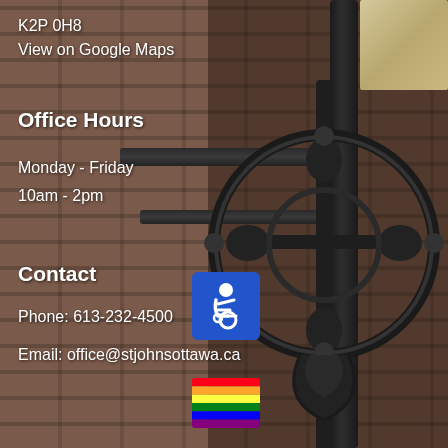K2P 0H8
View on Google Maps
Office Hours
Monday - Friday
10am - 2pm
Contact
Phone:  613-232-4500
Email:  office@stjohnsottawa.ca
[Figure (illustration): Accessibility (wheelchair) icon on blue background]
[Figure (illustration): Rainbow pride flag with 6 horizontal stripes: red, orange, yellow, green, blue, purple]